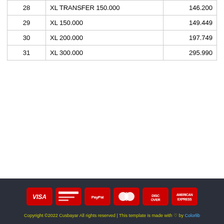| # | Product | Price |
| --- | --- | --- |
| 28 | XL TRANSFER 150.000 | 146.200 |
| 29 | XL 150.000 | 149.449 |
| 30 | XL 200.000 | 197.749 |
| 31 | XL 300.000 | 295.990 |
[Figure (infographic): Payment method icons: VISA, card, PayPal, Mastercard, Discover, American Express — all in red on dark background]
Copyright ©2022 Cusbayar All rights reserved | This template is made with ♡ by Colorlib